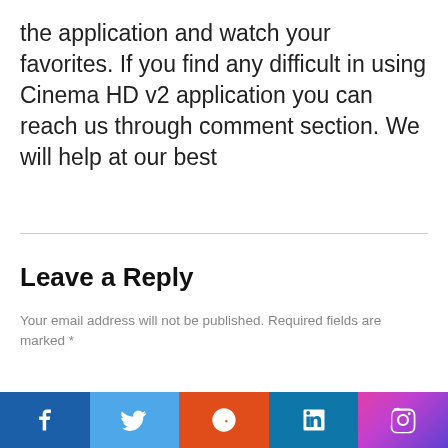the application and watch your favorites. If you find any difficult in using Cinema HD v2 application you can reach us through comment section. We will help at our best
Leave a Reply
Your email address will not be published. Required fields are marked *
[Figure (infographic): Social media share buttons bar: Facebook (dark blue), Twitter (light blue), Reddit (orange), LinkedIn (blue), Instagram (gradient pink-purple)]